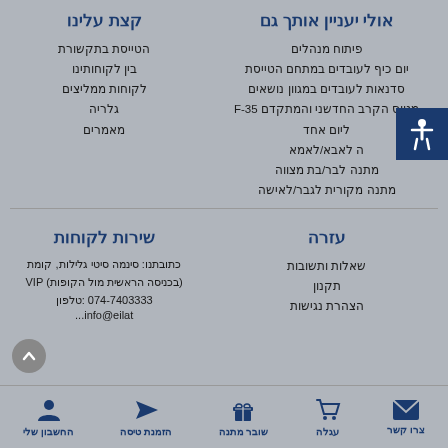אולי יעניין אותך גם
פיתוח מנהלים
יום כיף לעובדים במתחם הטייסת
סדנאות לעובדים במגוון נושאים
מטוס הקרב החדשני והמתקדם F-35
ליום אחד
ה לאבא/לאמא
מתנה לבר/בת מצווה
מתנה מקורית לגבר/לאישה
קצת עלינו
הטייסת בתקשורת
בין לקוחותינו
לקוחות ממליצים
גלריה
מאמרים
עזרה
שאלות ותשובות
תקנון
הצהרת נגישות
שירות לקוחות
כתובתנו: סינמה סיטי גלילות, קומת VIP (בכניסה הראשית מול הקופות)
טלפון: 074-7403333
info@...
צרו קשר
עגלה
שובר מתנה
הזמנת טיסה
החשבון שלי